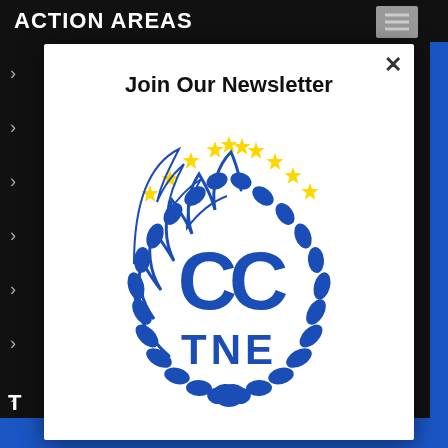ACTION AREAS
Join Our Newsletter
[Figure (logo): CCTNE logo: circular laurel wreath with large 'CC' letters and 'TNE' below, surrounded by a ring of yellow stars at the top arc, in blue and yellow on white background]